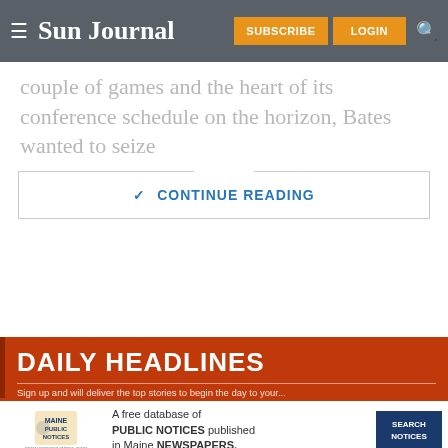Sun Journal — SUBSCRIBE LOGIN
couple of games and the heart of its conference schedule on the horizon, Bates wanted to seize
✓ CONTINUE READING
[Figure (other): Daily Headlines banner advertisement section]
DAILY HEADLINES
Sign up and will deliver the top stories to begin the day to your
[Figure (other): Maine Public Notices advertisement: A free database of PUBLIC NOTICES published in Maine NEWSPAPERS. SEARCH NOTICES]